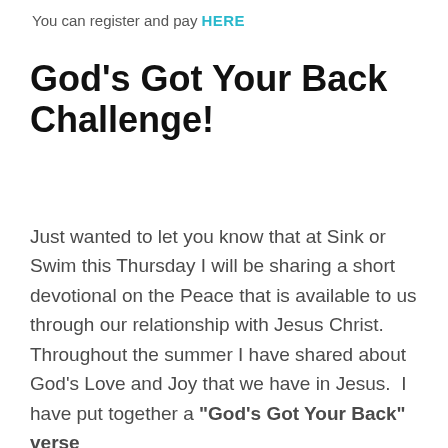You can register and pay HERE
God's Got Your Back Challenge!
Just wanted to let you know that at Sink or Swim this Thursday I will be sharing a short devotional on the Peace that is available to us through our relationship with Jesus Christ.  Throughout the summer I have shared about God's Love and Joy that we have in Jesus.  I have put together a "God's Got Your Back" verse